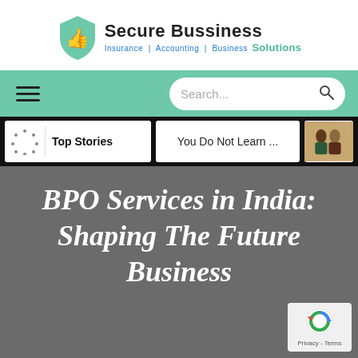[Figure (logo): Secure Bussiness Solutions logo with teal shield/thumbs-up icon and company name]
Navigation bar with hamburger menu and search box
Top Stories | You Do Not Learn ... | [photo]
BPO Services in India: Shaping The Future Business